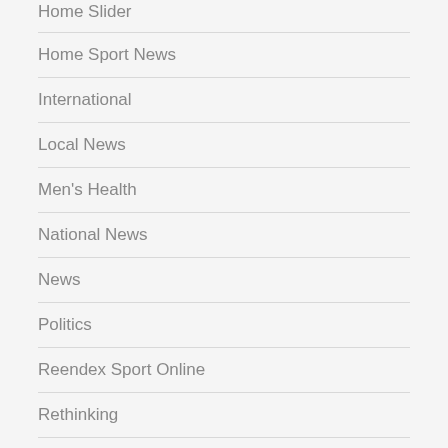Home Slider
Home Sport News
International
Local News
Men's Health
National News
News
Politics
Reendex Sport Online
Rethinking
Rethinking